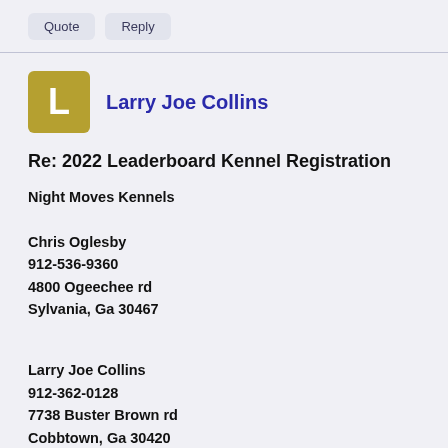Quote  Reply
Larry Joe Collins
Re: 2022 Leaderboard Kennel Registration
Night Moves Kennels

Chris Oglesby
912-536-9360
4800 Ogeechee rd
Sylvania, Ga 30467
Larry Joe Collins
912-362-0128
7738 Buster Brown rd
Cobbtown, Ga 30420
Ar Coward